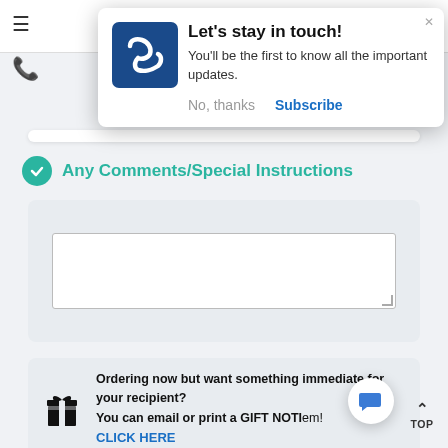[Figure (screenshot): Mobile website screenshot showing a push notification popup with 'Let's stay in touch!' message, a comments/special instructions section with a textarea, and a gift notice section.]
Let's stay in touch!
You'll be the first to know all the important updates.
No, thanks
Subscribe
Any Comments/Special Instructions
Ordering now but want something immediate for your recipient? You can email or print a GIFT NOTI...em!
CLICK HERE